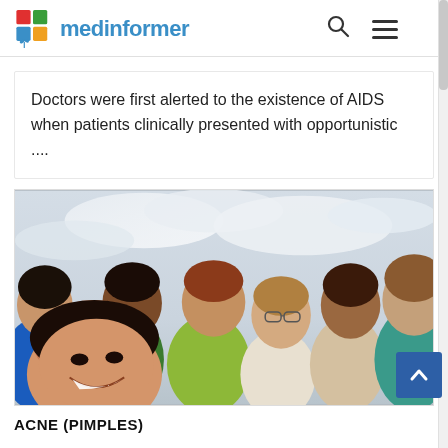medinformer
Doctors were first alerted to the existence of AIDS when patients clinically presented with opportunistic ....
[Figure (photo): Group selfie photo of six young smiling people of diverse backgrounds, taken outdoors with a bright cloudy sky background.]
ACNE (PIMPLES)